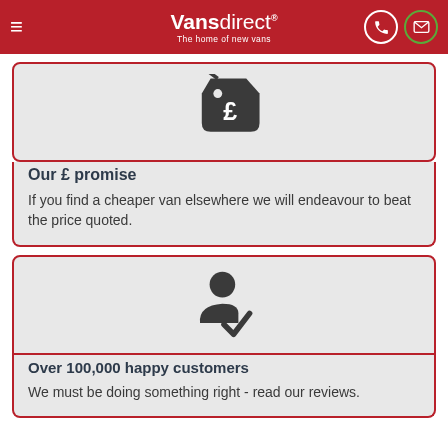Vansdirect® The home of new vans
[Figure (illustration): Price tag icon with pound symbol]
Our £ promise
If you find a cheaper van elsewhere we will endeavour to beat the price quoted.
[Figure (illustration): Person/customer silhouette with a checkmark]
Over 100,000 happy customers
We must be doing something right - read our reviews.